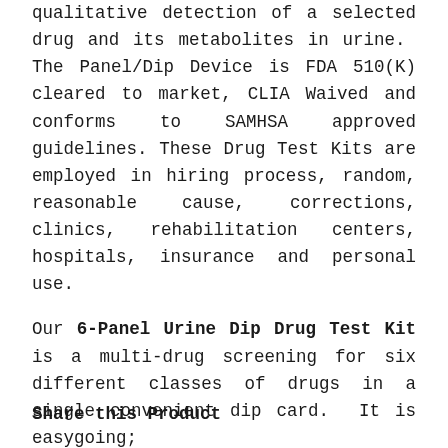qualitative detection of a selected drug and its metabolites in urine.  The Panel/Dip Device is FDA 510(K) cleared to market, CLIA Waived and conforms to SAMHSA approved guidelines. These Drug Test Kits are employed in hiring process, random, reasonable cause, corrections, clinics, rehabilitation centers, hospitals, insurance and personal use.
Our 6-Panel Urine Dip Drug Test Kit is a multi-drug screening for six different classes of drugs in a single convenient dip card.  It is easygoing;
Share this Product